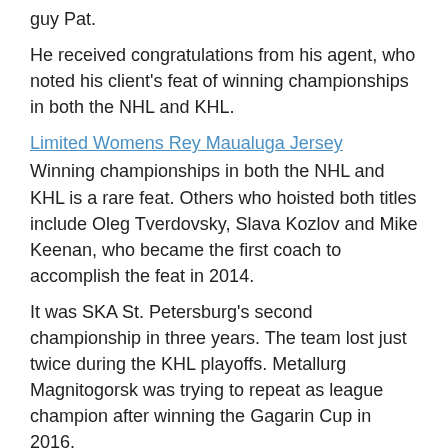guy Pat.
He received congratulations from his agent, who noted his client's feat of winning championships in both the NHL and KHL.
Limited Womens Rey Maualuga Jersey
Winning championships in both the NHL and KHL is a rare feat. Others who hoisted both titles include Oleg Tverdovsky, Slava Kozlov and Mike Keenan, who became the first coach to accomplish the feat in 2014.
It was SKA St. Petersburg's second championship in three years. The team lost just twice during the KHL playoffs. Metallurg Magnitogorsk was trying to repeat as league champion after winning the Gagarin Cup in 2016.
Winds tend to be a